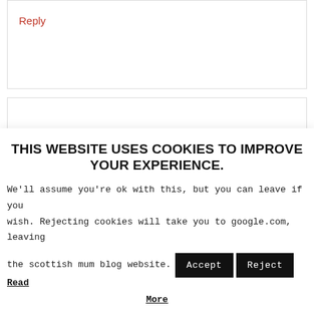Reply
JOY GRIFFITHS SAYS
January 20, 2016 at 8:09 pm
THIS WEBSITE USES COOKIES TO IMPROVE YOUR EXPERIENCE.
We'll assume you're ok with this, but you can leave if you wish. Rejecting cookies will take you to google.com, leaving the scottish mum blog website.
Accept  Reject  Read More